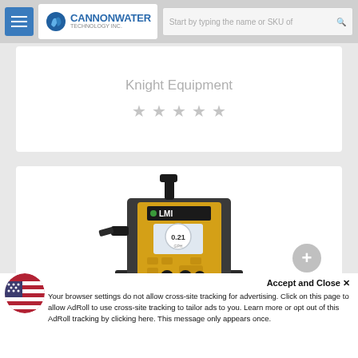Cannon Water Technology Inc. - navigation bar with logo and search
Knight Equipment
★ ★ ★ ★ ★
[Figure (photo): LMI brand chemical metering pump with yellow body, black fittings, and LCD display showing 0.21]
Accept and Close ×
Your browser settings do not allow cross-site tracking for advertising. Click on this page to allow AdRoll to use cross-site tracking to tailor ads to you. Learn more or opt out of this AdRoll tracking by clicking here. This message only appears once.